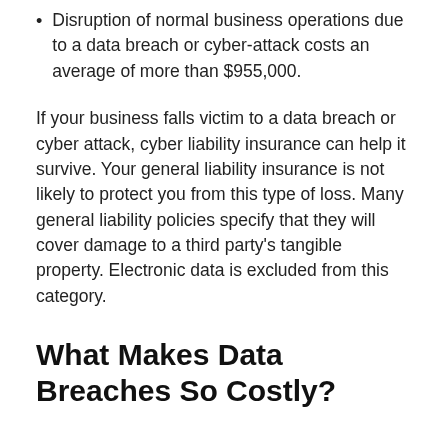Disruption of normal business operations due to a data breach or cyber-attack costs an average of more than $955,000.
If your business falls victim to a data breach or cyber attack, cyber liability insurance can help it survive. Your general liability insurance is not likely to protect you from this type of loss. Many general liability policies specify that they will cover damage to a third party's tangible property. Electronic data is excluded from this category.
What Makes Data Breaches So Costly?